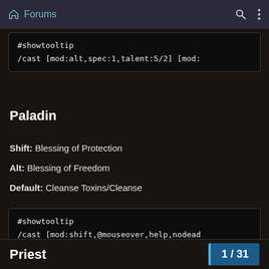Forums
#showtooltip
/cast [mod:alt,spec:1,talent:5/2] [mod:
Paladin
Shift: Blessing of Protection
Alt: Blessing of Freedom
Default: Cleanse Toxins/Cleanse
#showtooltip
/cast [mod:shift,@mouseover,help,nodead
Priest
1 / 31